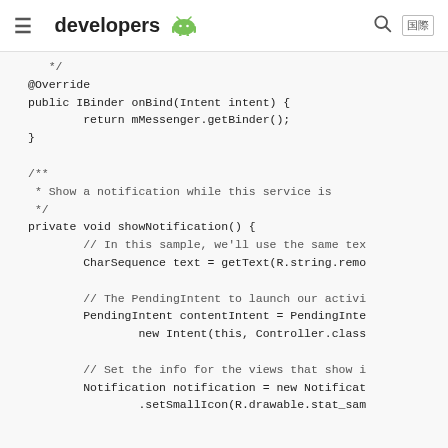developers [android logo]
[Figure (screenshot): Android developers website header with hamburger menu, logo, search icon, and language selector]
*/
@Override
public IBinder onBind(Intent intent) {
    return mMessenger.getBinder();
}

/**
 * Show a notification while this service is
 */
private void showNotification() {
    // In this sample, we'll use the same tex
    CharSequence text = getText(R.string.remo

    // The PendingIntent to launch our activi
    PendingIntent contentIntent = PendingInte
            new Intent(this, Controller.class

    // Set the info for the views that show i
    Notification notification = new Notificat
            .setSmallIcon(R.drawable.stat_sam